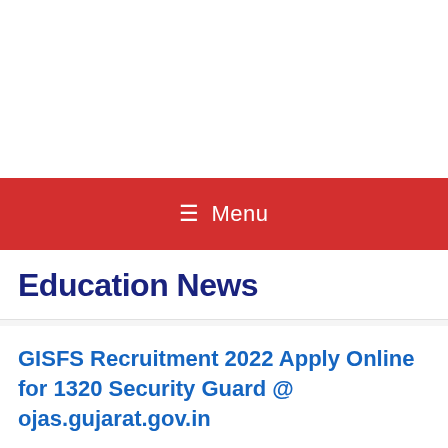≡ Menu
Education News
GISFS Recruitment 2022 Apply Online for 1320 Security Guard @ ojas.gujarat.gov.in
August 4, 2022 by Gujarat Education